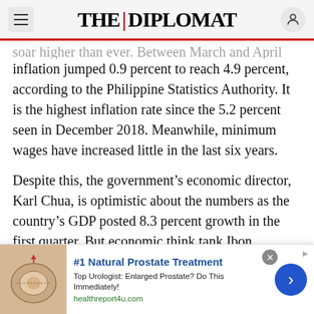THE DIPLOMAT
soar higher than ever. Between March and April inflation jumped 0.9 percent to reach 4.9 percent, according to the Philippine Statistics Authority. It is the highest inflation rate since the 5.2 percent seen in December 2018. Meanwhile, minimum wages have increased little in the last six years.
Despite this, the government’s economic director, Karl Chua, is optimistic about the numbers as the country’s GDP posted 8.3 percent growth in the first quarter. But economic think tank Ibon Foundation attributed the growth to election-related spending and increases in output for the manufacture of paper, apparel, information, publishing, and the
[Figure (other): Advertisement banner: #1 Natural Prostate Treatment. Top Urologist: Enlarged Prostate? Do This Immediately! healthreport4u.com]